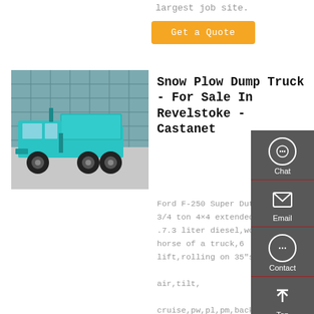largest job site.
Get a Quote
[Figure (photo): Teal/turquoise dump truck parked in front of a building with glass exterior]
Snow Plow Dump Truck - For Sale In Revelstoke - Castanet
Ford F-250 Super Duty, 3/4 ton 4×4 extended cab .7.3 liter diesel,wor horse of a truck,6 lift,rolling on 35"s, air,tilt, cruise,pw,pl,pm,back up cam.. Whether you are